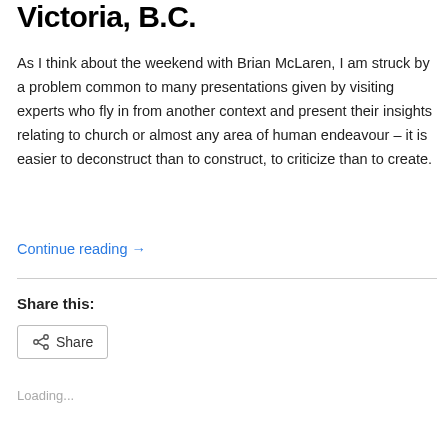Victoria, B.C.
As I think about the weekend with Brian McLaren, I am struck by a problem common to many presentations given by visiting experts who fly in from another context and present their insights relating to church or almost any area of human endeavour – it is easier to deconstruct than to construct, to criticize than to create.
Continue reading →
Share this:
Loading...